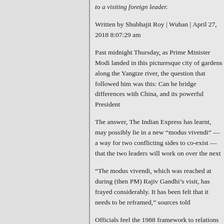to a visiting foreign leader.
Written by Shubhajit Roy | Wuhan | April 27, 2018 8:07:29 am
Past midnight Thursday, as Prime Minister Modi landed in this picturesque city of gardens along the Yangtze river, the question that followed him was this: Can he bridge differences with China, and its powerful President
The answer, The Indian Express has learnt, may possibly lie in a new “modus vivendi” — a way for two conflicting sides to co-exist — that the two leaders will work on over the next
“The modus vivendi, which was reached at during (then PM) Rajiv Gandhi’s visit, has frayed considerably. It has been felt that it needs to be reframed,” sources told
Officials feel the 1988 framework to relations in all spheres, while carrying